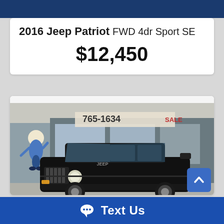2016 Jeep Patriot FWD 4dr Sport SE
$12,450
[Figure (photo): Black 2016 Jeep Patriot SUV parked in front of a dealership. A cartoon salesman mascot is visible on the left. Dealership phone number '765-1634' and 'SALE' text visible in background signage.]
Text Us